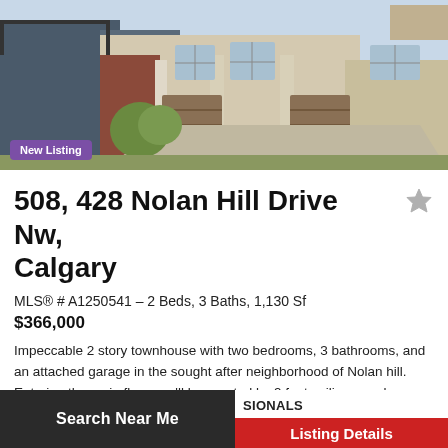[Figure (photo): Exterior photo of a two-story townhouse with attached garage, beige/grey siding, and landscaped driveway]
New Listing
508, 428 Nolan Hill Drive Nw, Calgary
MLS® # A1250541 – 2 Beds, 3 Baths, 1,130 Sf
$366,000
Impeccable 2 story townhouse with two bedrooms, 3 bathrooms, and an attached garage in the sought after neighborhood of Nolan hill. Entering the main floor you'll be greeted by 9 foot ceilings, and...
Search Near Me
SIONALS
Listing Details